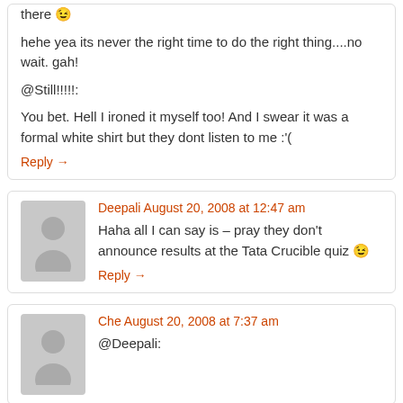there 😉
hehe yea its never the right time to do the right thing....no wait. gah!
@Still!!!!!:
You bet. Hell I ironed it myself too! And I swear it was a formal white shirt but they dont listen to me :'(
Reply →
Deepali August 20, 2008 at 12:47 am
Haha all I can say is – pray they don't announce results at the Tata Crucible quiz 😉
Reply →
Che August 20, 2008 at 7:37 am
@Deepali: